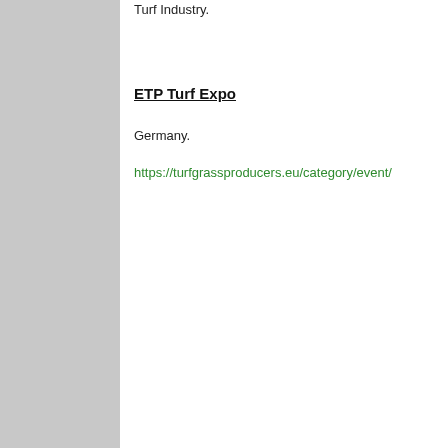Turf Industry.
ETP Turf Expo
Germany.
https://turfgrassproducers.eu/category/event/